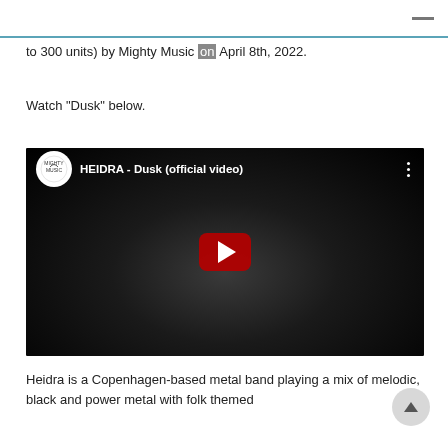to 300 units) by Mighty Music on April 8th, 2022.
Watch “Dusk” below.
[Figure (screenshot): YouTube video embed showing HEIDRA - Dusk (official video) with Mighty Music logo, man's face in black and white background, red play button in center]
Heidra is a Copenhagen-based metal band playing a mix of melodic, black and power metal with folk themed